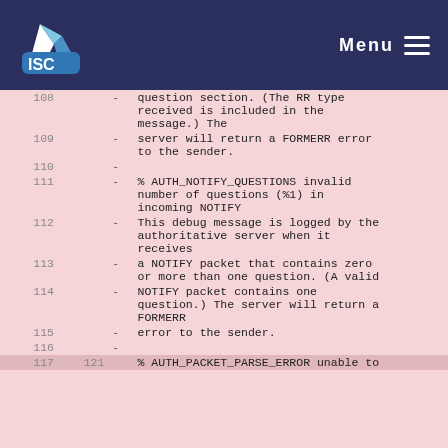ISC Menu
| line | num2 | dash | code |
| --- | --- | --- | --- |
| 108 |  | - | question section. (The RR type received is included in the message.) The |
| 109 |  | - | server will return a FORMERR error to the sender. |
| 110 |  | - |  |
| 111 |  | - | % AUTH_NOTIFY_QUESTIONS invalid number of questions (%1) in incoming NOTIFY |
| 112 |  | - | This debug message is logged by the authoritative server when it receives |
| 113 |  | - | a NOTIFY packet that contains zero or more than one question. (A valid |
| 114 |  | - | NOTIFY packet contains one question.) The server will return a FORMERR |
| 115 |  | - | error to the sender. |
| 116 |  | - |  |
| 117 | 121 |  | % AUTH_PACKET_PARSE_ERROR unable to |